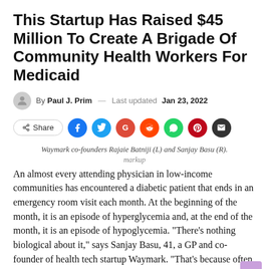This Startup Has Raised $45 Million To Create A Brigade Of Community Health Workers For Medicaid
By Paul J. Prim — Last updated Jan 23, 2022
[Figure (infographic): Social share buttons row: Share button, Facebook, Twitter, Google+, Reddit, WhatsApp, Pinterest, Email icons]
Waymark co-founders Rajaie Batniji (L) and Sanjay Basu (R).
markup
An almost every attending physician in low-income communities has encountered a diabetic patient that ends in an emergency room visit each month. At the beginning of the month, it is an episode of hyperglycemia and, at the end of the month, it is an episode of hypoglycemia. "There's nothing biological about it," says Sanjay Basu, 41, a GP and co-founder of health tech startup Waymark. "That's because often people on Medicaid are food insecure."